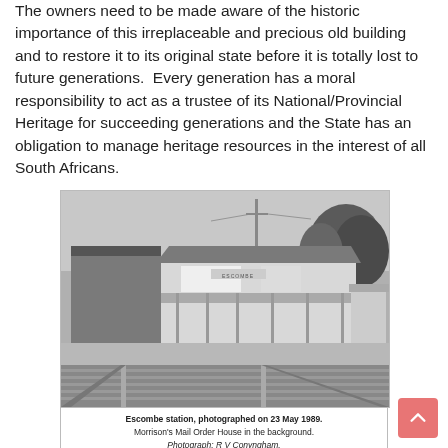The owners need to be made aware of the historic importance of this irreplaceable and precious old building and to restore it to its original state before it is totally lost to future generations.  Every generation has a moral responsibility to act as a trustee of its National/Provincial Heritage for succeeding generations and the State has an obligation to manage heritage resources in the interest of all South Africans.
[Figure (photo): Black and white photograph of Escombe railway station with a platform in the foreground, station building with a veranda, Morrison's Mail Order House sign visible on the left, trees on the right, and railway tracks in the foreground.]
Escombe station, photographed on 23 May 1989.
Morrison's Mail Order House in the background.
Photograph: R V Conyngham.